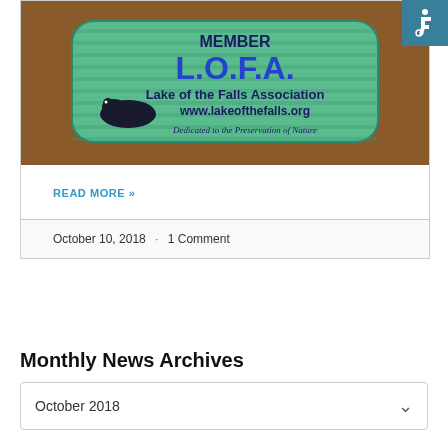[Figure (photo): Photo of a green L.O.F.A. member sticker/bumper sticker on a wooden surface. Text reads: MEMBER L.O.F.A. Lake of the Falls Association www.lakeofthefalls.org Dedicated to the Preservation of Nature]
READ MORE »
October 10, 2018 · 1 Comment
Monthly News Archives
October 2018